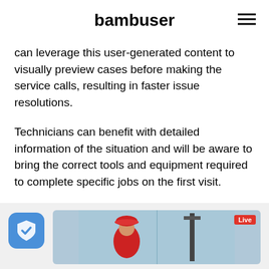bambuser
can leverage this user-generated content to visually preview cases before making the service calls, resulting in faster issue resolutions.
Technicians can benefit with detailed information of the situation and will be aware to bring the correct tools and equipment required to complete specific jobs on the first visit.
[Figure (screenshot): Bottom area showing a shield/security app icon on the left and a live video preview on the right showing a construction worker wearing a red hard hat, with a 'Live' badge in the top right corner of the video.]